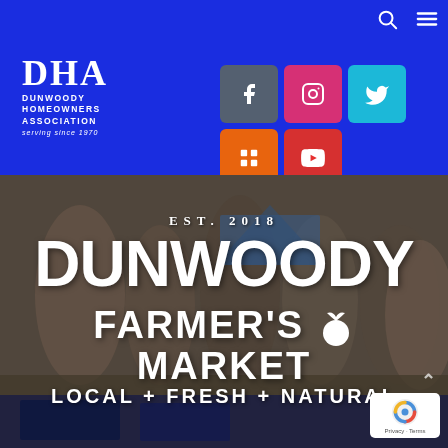[Figure (logo): DHA Dunwoody Homeowners Association logo with text 'serving since 1970' on blue background]
[Figure (infographic): Social media icons: Facebook (gray), Instagram (pink), Twitter (cyan), Pinterest (orange), YouTube (red) in a grid layout on blue background]
[Figure (photo): Outdoor farmers market scene with people browsing, tents in background, overlaid with Dunwoody Farmer's Market branding text: EST. 2018, DUNWOODY, FARMER'S MARKET, LOCAL + FRESH + NATURAL]
[Figure (logo): reCAPTCHA badge in bottom right corner showing Privacy - Terms links]